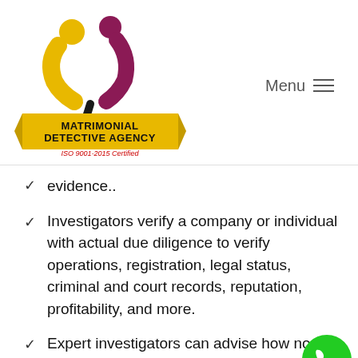[Figure (logo): Matrimonial Detective Agency logo with two figures forming a heart shape, gold banner, text 'MATRIMONIAL DETECTIVE AGENCY', 'ISO 9001-2015 Certified']
evidence..
Investigators verify a company or individual with actual due diligence to verify operations, registration, legal status, criminal and court records, reputation, profitability, and more.
Expert investigators can advise how not to be a victim.